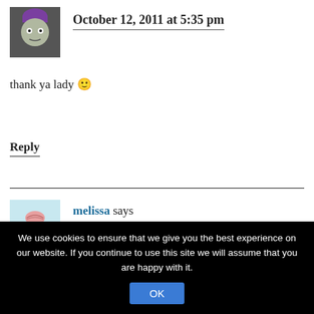[Figure (illustration): Avatar of a cartoon alien/creature with purple hair on dark background]
October 12, 2011 at 5:35 pm
thank ya lady 🙂
Reply
[Figure (illustration): Avatar of melissa: a green cartoon bug/creature with a pink brain on light blue background]
melissa says
October 12, 2011 at 3:03 pm
What great shots! Terrific colors!
We use cookies to ensure that we give you the best experience on our website. If you continue to use this site we will assume that you are happy with it.